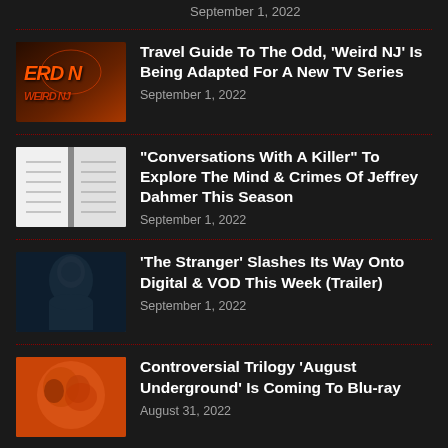September 1, 2022
Travel Guide To The Odd, 'Weird NJ' Is Being Adapted For A New TV Series
September 1, 2022
"Conversations With A Killer" To Explore The Mind & Crimes Of Jeffrey Dahmer This Season
September 1, 2022
'The Stranger' Slashes Its Way Onto Digital & VOD This Week (Trailer)
September 1, 2022
Controversial Trilogy 'August Underground' Is Coming To Blu-ray
August 31, 2022